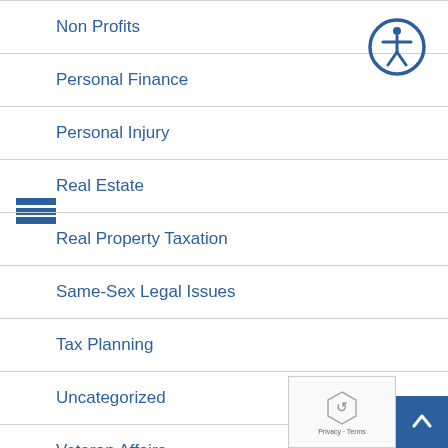Non Profits
Personal Finance
Personal Injury
Real Estate
Real Property Taxation
Same-Sex Legal Issues
Tax Planning
Uncategorized
Veteran Affairs
Zoning